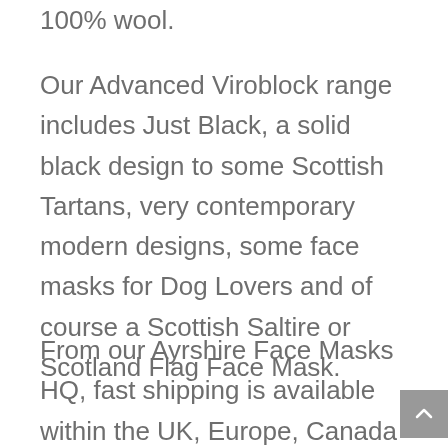100% wool.
Our Advanced Viroblock range includes Just Black, a solid black design to some Scottish Tartans, very contemporary modern designs, some face masks for Dog Lovers and of course a Scottish Saltire or Scotland Flag Face Mask.
From our Ayrshire Face Masks HQ, fast shipping is available within the UK, Europe, Canada and the USA.